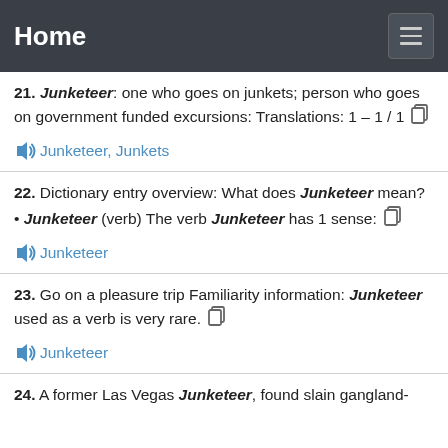Home
21. Junketeer: one who goes on junkets; person who goes on government funded excursions: Translations: 1 – 1 / 1
🔊 Junketeer, Junkets
22. Dictionary entry overview: What does Junketeer mean? • Junketeer (verb) The verb Junketeer has 1 sense:
🔊 Junketeer
23. Go on a pleasure trip Familiarity information: Junketeer used as a verb is very rare.
🔊 Junketeer
24. A former Las Vegas Junketeer, found slain gangland-